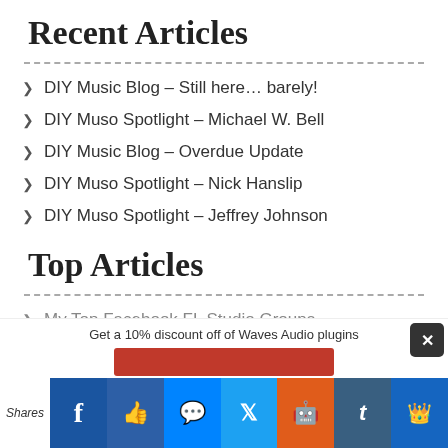Recent Articles
DIY Music Blog – Still here… barely!
DIY Muso Spotlight – Michael W. Bell
DIY Music Blog – Overdue Update
DIY Muso Spotlight – Nick Hanslip
DIY Muso Spotlight – Jeffrey Johnson
Top Articles
My Top Facebook FL Studio Groups
Get a 10% discount off of Waves Audio plugins